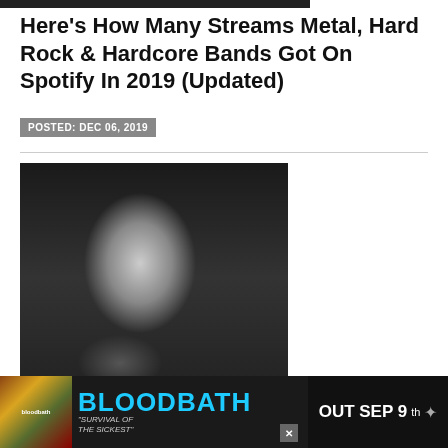Here’s How Many Streams Metal, Hard Rock & Hardcore Bands Got On Spotify In 2019 (Updated)
POSTED: DEC 06, 2019
[Figure (photo): Black and white photo of Brian Head Welch, a man with dreadlocks making a hand gesture, sitting in what appears to be a tour bus or lounge area]
Brian “Head” Welch Admits He Didn’t Love Korn’s Dubstep Album; Clarifies ‘Solo’ Record Rumors
POSTED: SEP 18, 2019
[Figure (infographic): Advertisement banner for Bloodbath album 'Survival of the Sickest' - Out Sep 9th]